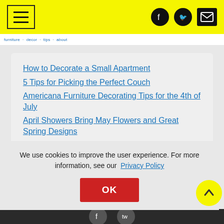Navigation header with menu button and social icons (Facebook, Twitter, Email) on yellow background
How to Decorate a Small Apartment
5 Tips for Picking the Perfect Couch
Americana Furniture Decorating Tips for the 4th of July
April Showers Bring May Flowers and Great Spring Designs
How to Protect Your Floors from Muddy Boots This Spring
We use cookies to improve the user experience. For more information, see our Privacy Policy
OK